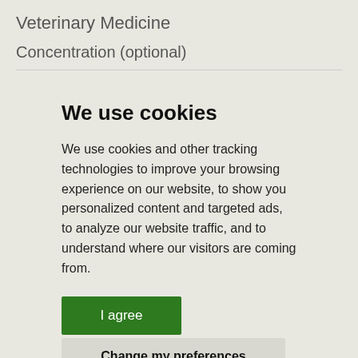Veterinary Medicine
Concentration (optional)
We use cookies
We use cookies and other tracking technologies to improve your browsing experience on our website, to show you personalized content and targeted ads, to analyze our website traffic, and to understand where our visitors are coming from.
I agree
Change my preferences